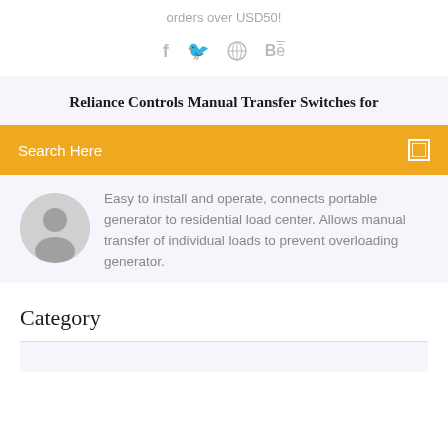orders over USD50!
[Figure (other): Social media icons: Facebook (f), Twitter bird, Dribbble, Behance (Be)]
Reliance Controls Manual Transfer Switches for
Search Here
Easy to install and operate, connects portable generator to residential load center. Allows manual transfer of individual loads to prevent overloading generator.
Category